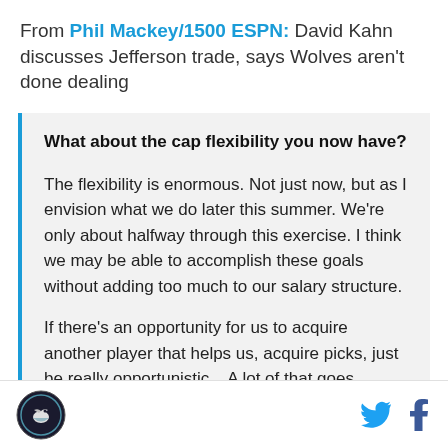From Phil Mackey/1500 ESPN: David Kahn discusses Jefferson trade, says Wolves aren't done dealing
What about the cap flexibility you now have?
The flexibility is enormous. Not just now, but as I envision what we do later this summer. We're only about halfway through this exercise. I think we may be able to accomplish these goals without adding too much to our salary structure.
If there's an opportunity for us to acquire another player that helps us, acquire picks, just be really opportunistic... A lot of that goes behind what went
[logo] [Twitter icon] [Facebook icon]